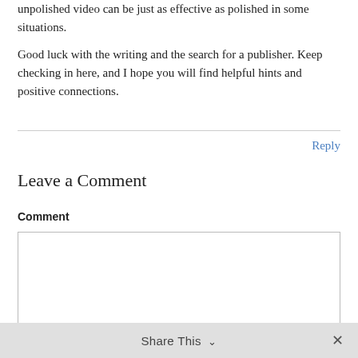unpolished video can be just as effective as polished in some situations.
Good luck with the writing and the search for a publisher. Keep checking in here, and I hope you will find helpful hints and positive connections.
Reply
Leave a Comment
Comment
Share This ∨  ✕